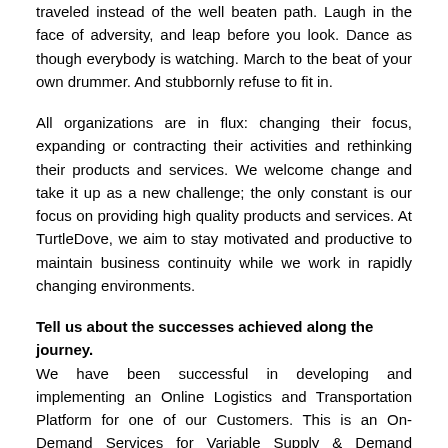traveled instead of the well beaten path. Laugh in the face of adversity, and leap before you look. Dance as though everybody is watching. March to the beat of your own drummer. And stubbornly refuse to fit in.
All organizations are in flux: changing their focus, expanding or contracting their activities and rethinking their products and services. We welcome change and take it up as a new challenge; the only constant is our focus on providing high quality products and services. At TurtleDove, we aim to stay motivated and productive to maintain business continuity while we work in rapidly changing environments.
Tell us about the successes achieved along the journey.
We have been successful in developing and implementing an Online Logistics and Transportation Platform for one of our Customers. This is an On-Demand Services for Variable Supply & Demand markets. We leveraged on Technologies to address the business and operations challenges to achieve Quality, Accuracy
and Precision. Some of the keys processes of Logistics & Transportation include Stakeholder Registration, Customer Contracts, Placing Orders by Customers, Offline Quoting &